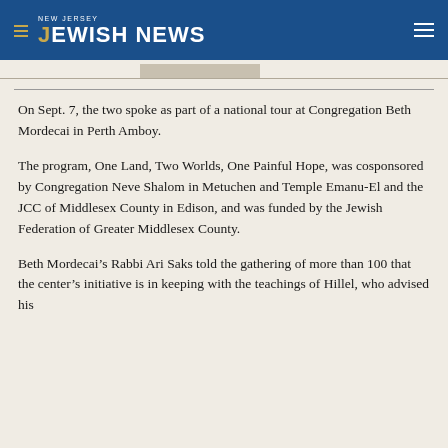NEW JERSEY JEWISH NEWS
On Sept. 7, the two spoke as part of a national tour at Congregation Beth Mordecai in Perth Amboy.
The program, One Land, Two Worlds, One Painful Hope, was cosponsored by Congregation Neve Shalom in Metuchen and Temple Emanu-El and the JCC of Middlesex County in Edison, and was funded by the Jewish Federation of Greater Middlesex County.
Beth Mordecai’s Rabbi Ari Saks told the gathering of more than 100 that the center’s initiative is in keeping with the teachings of Hillel, who advised his